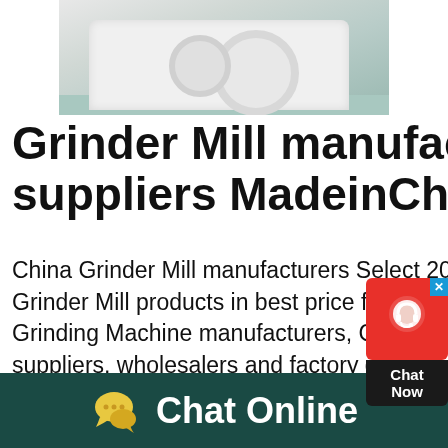[Figure (photo): Industrial grinding mill machinery in a factory floor, white equipment units visible]
Grinder Mill manufacturers & suppliers MadeinChina
China Grinder Mill manufacturers Select 2021 high quality Grinder Mill products in best price from certified Chinese Grinding Machine manufacturers, Grinding Equipment suppliers, wholesalers and factory on MadeinChinaSearch Angle Grinder products in Shanghai Contact Shanghai Angle Grinder manufacturers and suppliers from MadeinChinaShanghai Angle Grinder products, Shanghai AngleSearch Grinder products in Shanghai Contact
[Figure (other): Chat Now widget button with red background and headset icon]
Chat Online